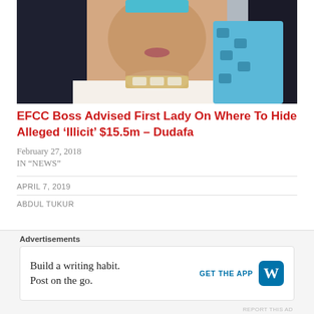[Figure (photo): Photo of a woman wearing white outfit and jewelry with teal accessories, alongside another person in blue patterned fabric]
EFCC Boss Advised First Lady On Where To Hide Alleged ‘Illicit’ $15.5m – Dudafa
February 27, 2018
IN “NEWS”
APRIL 7, 2019
ABDUL TUKUR
Advertisements
Build a writing habit.
Post on the go.
GET THE APP